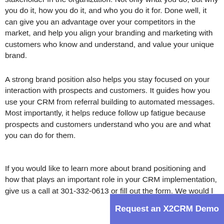stakeholder in the organization. Not only what you do, but why you do it, how you do it, and who you do it for. Done well, it can give you an advantage over your competitors in the market, and help you align your branding and marketing with customers who know and understand, and value your unique brand.
A strong brand position also helps you stay focused on your interaction with prospects and customers. It guides how you use your CRM from referral building to automated messages. Most importantly, it helps reduce follow up fatigue because prospects and customers understand who you are and what you can do for them.
If you would like to learn more about brand positioning and how that plays an important role in your CRM implementation, give us a call at 301-332-0613 or fill out the form. We would l
Request an X2CRM Demo